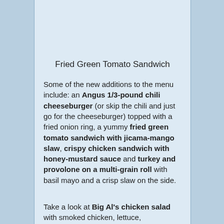Fried Green Tomato Sandwich
Some of the new additions to the menu include: an Angus 1/3-pound chili cheeseburger (or skip the chili and just go for the cheeseburger) topped with a fried onion ring, a yummy fried green tomato sandwich with jicama-mango slaw, crispy chicken sandwich with honey-mustard sauce and turkey and provolone on a multi-grain roll with basil mayo and a crisp slaw on the side.
Take a look at Big Al's chicken salad with smoked chicken, lettuce, watermelon, candied pecans, dried cherries, pickled red